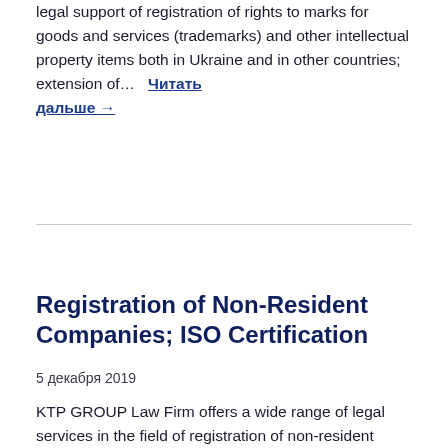legal support of registration of rights to marks for goods and services (trademarks) and other intellectual property items both in Ukraine and in other countries; extension of…  Читать дальше →
Registration of Non-Resident Companies; ISO Certification
5 декабря 2019
KTP GROUP Law Firm offers a wide range of legal services in the field of registration of non-resident companies: selection of a jurisdiction and a taxation system; turnkey registration of a company; accounting services; legal protection of a